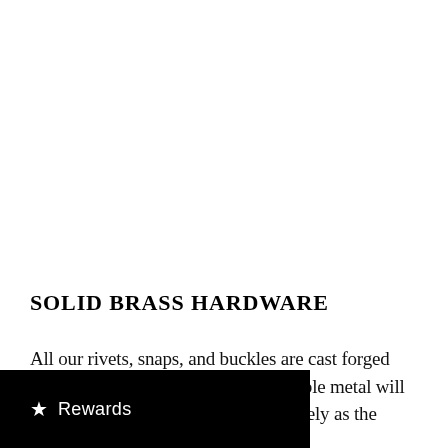SOLID BRASS HARDWARE
All our rivets, snaps, and buckles are cast forged from solid brass. This hefty and durable metal will offer decades of use and patina as nicely as the leather that surrounds it.
[Figure (other): Black rewards bar with star icon and 'Rewards' text label at bottom of page]